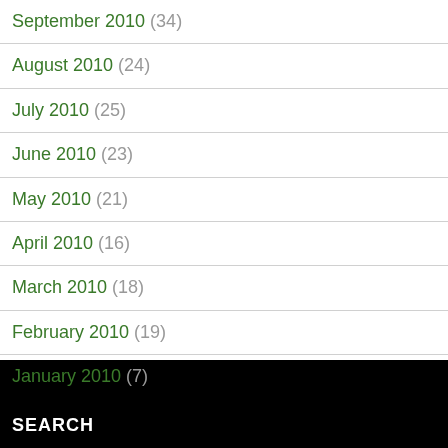September 2010 (34)
August 2010 (24)
July 2010 (25)
June 2010 (23)
May 2010 (21)
April 2010 (16)
March 2010 (18)
February 2010 (19)
January 2010 (7)
SEARCH